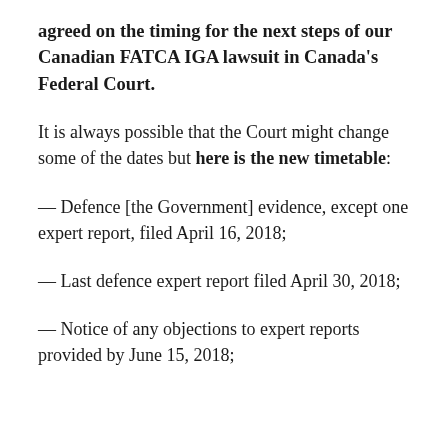agreed on the timing for the next steps of our Canadian FATCA IGA lawsuit in Canada's Federal Court.
It is always possible that the Court might change some of the dates but here is the new timetable:
— Defence [the Government] evidence, except one expert report, filed April 16, 2018;
— Last defence expert report filed April 30, 2018;
— Notice of any objections to expert reports provided by June 15, 2018;